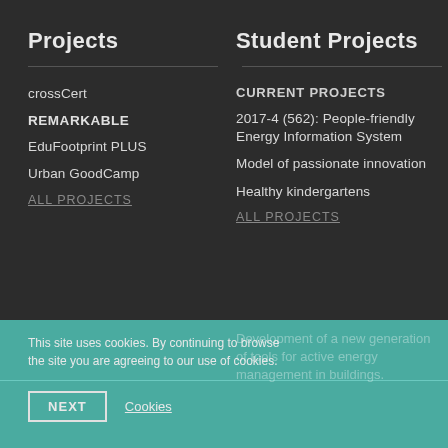Projects
crossCert
REMARKABLE
EduFootprint PLUS
Urban GoodCamp
ALL PROJECTS
Student Projects
CURRENT PROJECTS
2017-4 (562): People-friendly Energy Information System
Model of passionate innovation
Healthy kindergartens
ALL PROJECTS
This site uses cookies. By continuing to browse the site you are agreeing to our use of cookies.
NEXT
Cookies
Development of a new generation of tools for active energy management in buildings.